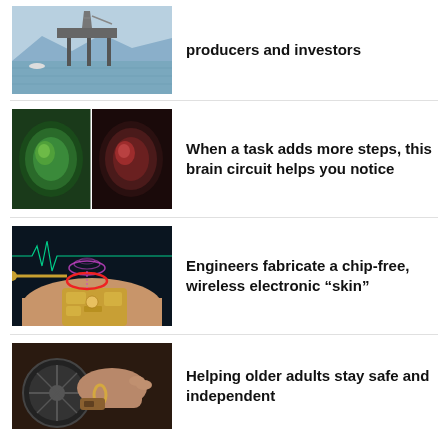[Figure (photo): Oil rig platform on the ocean with mountains in background]
producers and investors
[Figure (photo): Two side-by-side brain scan images, one green-tinted and one red-tinted]
When a task adds more steps, this brain circuit helps you notice
[Figure (photo): Electronic skin patch on a human arm with wireless charging illustration]
Engineers fabricate a chip-free, wireless electronic “skin”
[Figure (photo): Older adult with mechanical device, possibly mobility aid]
Helping older adults stay safe and independent